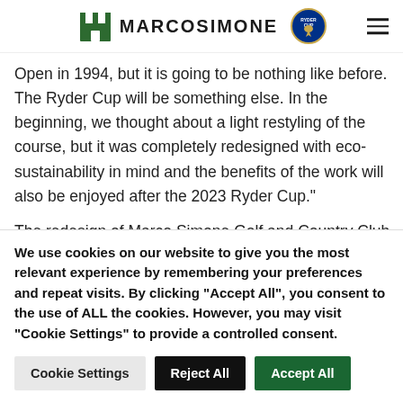MARCOSIMONE
Open in 1994, but it is going to be nothing like before. The Ryder Cup will be something else. In the beginning, we thought about a light restyling of the course, but it was completely redesigned with eco-sustainability in mind and the benefits of the work will also be enjoyed after the 2023 Ryder Cup."
The redesign of Marco Simone Golf and Country Club,
We use cookies on our website to give you the most relevant experience by remembering your preferences and repeat visits. By clicking “Accept All”, you consent to the use of ALL the cookies. However, you may visit "Cookie Settings" to provide a controlled consent.